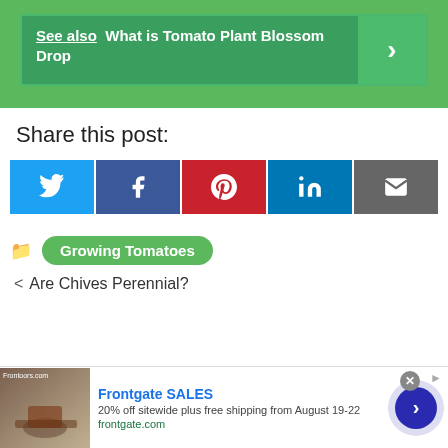See also  What is Tomato Plant Blossom Drop
Share this post:
[Figure (infographic): Social share buttons: Twitter (blue), Facebook (dark blue), Pinterest (red), LinkedIn (blue), Email (grey)]
Growing Tomatoes
< Are Chives Perennial?
[Figure (infographic): Advertisement banner: Frontgate SALES - 20% off sitewide plus free shipping from August 19-22, frontgate.com, with outdoor furniture image and navigation arrow]